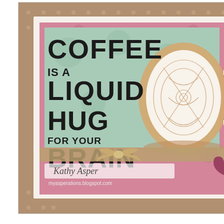[Figure (photo): Handmade greeting card reading 'COFFEE IS A LIQUID HUG FOR YOUR BRAIN' with decorative coffee mug zentangle art, pink and green patterned paper, kraft ribbon bow, stamped with 'Kathy Asper' and 'myasperations.blogspot.com', pink heart embellishment]
CASE card
[Figure (photo): Handmade greeting card with calligraphy text 'with all my heart', pink watercolor wash stripe, small pink heart, on wood plank background]